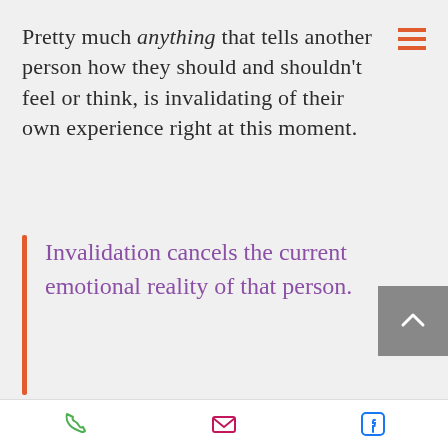Pretty much anything that tells another person how they should and shouldn't feel or think, is invalidating of their own experience right at this moment.
Invalidation cancels the current emotional reality of that person.
And it most definitely does not help them change, not one bit- because first and foremost, their own experience is denied and not